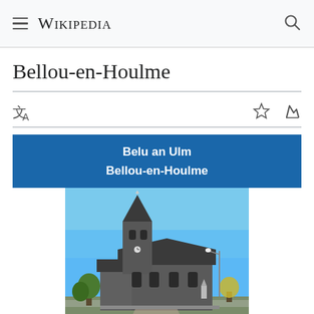Wikipedia
Bellou-en-Houlme
Belu an Ulm
Bellou-en-Houlme
[Figure (photo): Photograph of a stone church with a pointed tower steeple in Bellou-en-Houlme, France, under a clear blue sky]